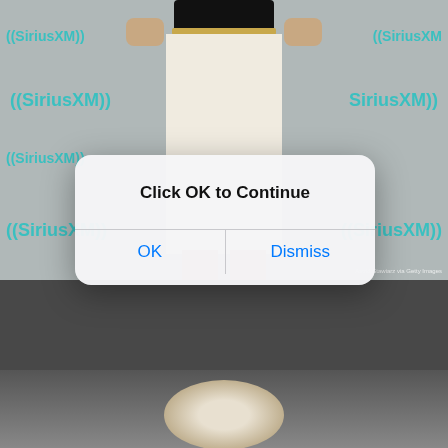[Figure (photo): A photo of a person standing in front of a SiriusXM branded backdrop, wearing a black top, cream/white wide-leg trousers with a gold belt, and black strappy heels. The lower half of the image shows a dark tile floor. A second photo below shows a blurry fluffy object. Overlaid on top of the main photo is an iOS-style alert dialog with the text 'Click OK to Continue' and two buttons: OK and Dismiss. A small photo credit reads 'Astrid Stawiarz via Getty Images'.]